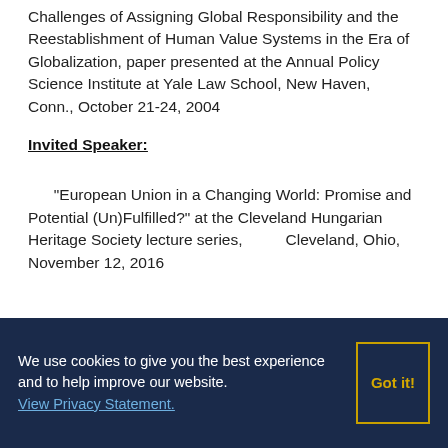Challenges of Assigning Global Responsibility and the Reestablishment of Human Value Systems in the Era of Globalization, paper presented at the Annual Policy Science Institute at Yale Law School, New Haven, Conn., October 21-24, 2004
Invited Speaker:
“European Union in a Changing World: Promise and Potential (Un)Fulfilled?” at the Cleveland Hungarian Heritage Society lecture series,          Cleveland, Ohio, November 12, 2016
We use cookies to give you the best experience and to help improve our website. View Privacy Statement.